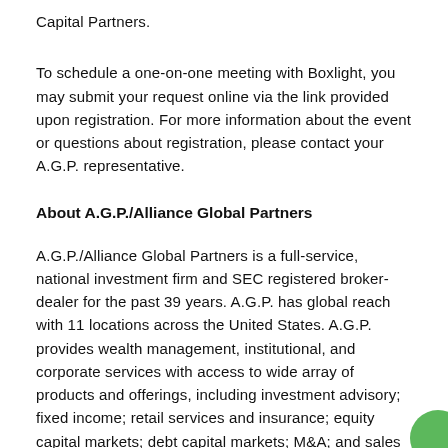Capital Partners.
To schedule a one-on-one meeting with Boxlight, you may submit your request online via the link provided upon registration. For more information about the event or questions about registration, please contact your A.G.P. representative.
About A.G.P./Alliance Global Partners
A.G.P./Alliance Global Partners is a full-service, national investment firm and SEC registered broker-dealer for the past 39 years. A.G.P. has global reach with 11 locations across the United States. A.G.P. provides wealth management, institutional, and corporate services with access to wide array of products and offerings, including investment advisory; fixed income; retail services and insurance; equity capital markets; debt capital markets; M&A; and sales and trading. A.G.P. also offers comprehensive sector-based research services. The A.G.P. team has participated in more than $20 billion in capital markets transactions as lead manager, co-manager or syndicate member and completed in excess of 300 public offerings as a deal manager.